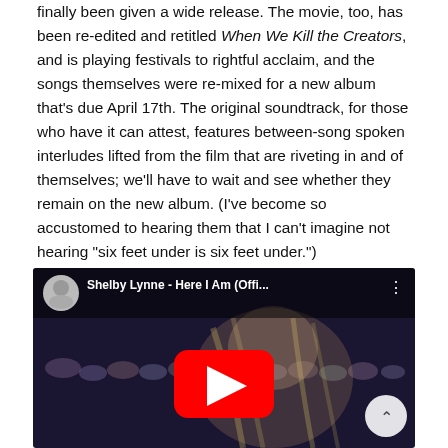finally been given a wide release. The movie, too, has been re-edited and retitled When We Kill the Creators, and is playing festivals to rightful acclaim, and the songs themselves were re-mixed for a new album that's due April 17th. The original soundtrack, for those who have it can attest, features between-song spoken interludes lifted from the film that are riveting in and of themselves; we'll have to wait and see whether they remain on the new album. (I've become so accustomed to hearing them that I can't imagine not hearing "six feet under is six feet under.")
[Figure (screenshot): YouTube video embed showing Shelby Lynne - Here I Am (Offi... with a blonde woman's face visible and a red YouTube play button in the center]